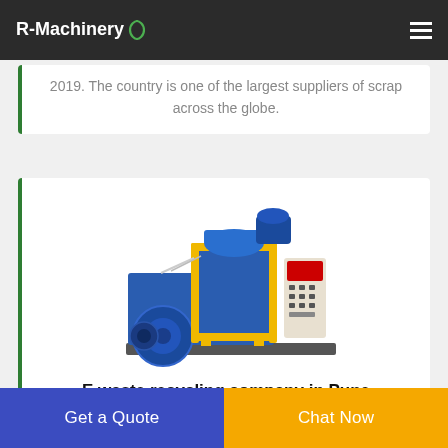R-Machinery
2019. The country is one of the largest suppliers of scrap across the globe.
[Figure (photo): Industrial e-waste / wire recycling machine in blue and yellow with control panel on right side]
E waste recycling company in Pune
Are you searching for an e-waste scrap buyer near me then E-